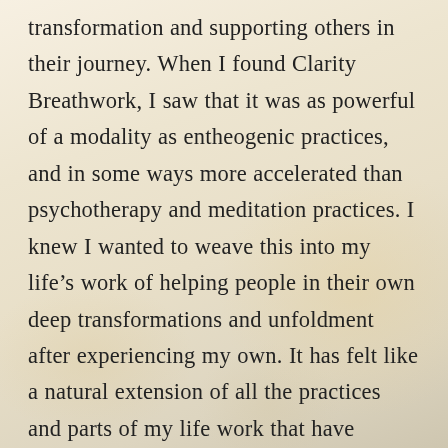transformation and supporting others in their journey. When I found Clarity Breathwork, I saw that it was as powerful of a modality as entheogenic practices, and in some ways more accelerated than psychotherapy and meditation practices. I knew I wanted to weave this into my life's work of helping people in their own deep transformations and unfoldment after experiencing my own. It has felt like a natural extension of all the practices and parts of my life work that have preceded it. What I have witnessed has been incredibly fulfilling and reinforces every time the